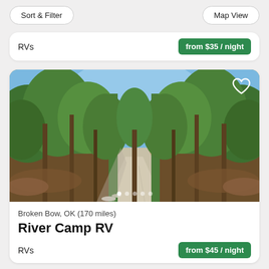Sort & Filter | Map View
RVs
from $35 / night
[Figure (photo): A gravel road leading through a dense green forest with tall trees on both sides, photographed on a sunny day with blue sky visible above.]
Broken Bow, OK (170 miles)
River Camp RV
RVs
from $45 / night